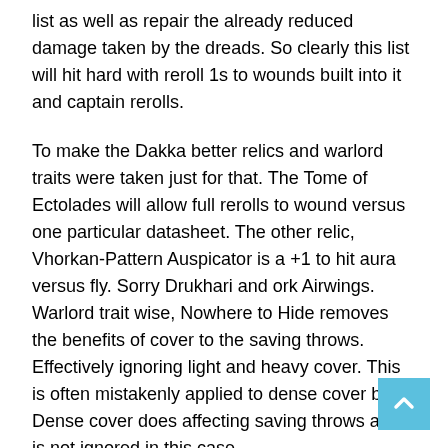list as well as repair the already reduced damage taken by the dreads. So clearly this list will hit hard with reroll 1s to wounds built into it and captain rerolls.
To make the Dakka better relics and warlord traits were taken just for that. The Tome of Ectolades will allow full rerolls to wound versus one particular datasheet. The other relic, Vhorkan-Pattern Auspicator is a +1 to hit aura versus fly. Sorry Drukhari and ork Airwings. Warlord trait wise, Nowhere to Hide removes the benefits of cover to the saving throws. Effectively ignoring light and heavy cover. This is often mistakenly applied to dense cover but Dense cover does affecting saving throws and is not ignored in this case.
Furthermore because of the low AP of 0 on the Volkite weapons this is an important aura to have. However, Deathwatch find it easy to be in Devastator doctrine. First is